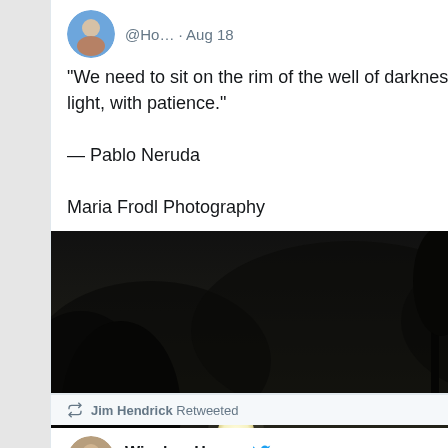[Figure (screenshot): Twitter/social media screenshot showing a tweet with a Pablo Neruda quote, a dark moonlit landscape photo, engagement counts (3 comments, 466 likes), and a retweet notification from Jim Hendrick for Winslow Homer's account.]
@Ho... · Aug 18
“We need to sit on the rim of the well of darkness and fish for fallen light, with patience.”

— Pablo Neruda

Maria Frodl Photography
[Figure (photo): Black and white photograph of a moonlit scene over water with dark silhouetted treeline and a bright moon reflected on water]
3   466
Jim Hendrick Retweeted
Winslow Homer
@artisth... · 17h